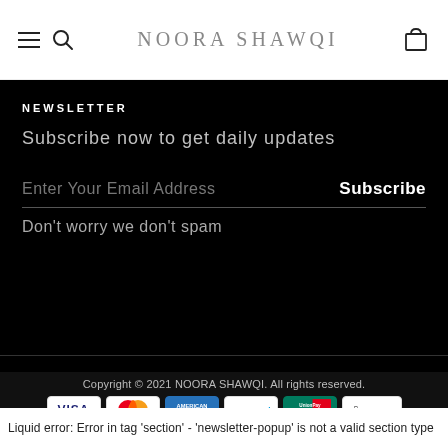NOORA SHAWQI
NEWSLETTER
Subscribe now to get daily updates
Enter Your Email Address
Subscribe
Don't worry we don't spam
Copyright © 2021 NOORA SHAWQI. All rights reserved.
[Figure (other): Payment method icons: VISA, Mastercard, American Express, PayPal, UnionPay, Apple Pay]
Liquid error: Error in tag 'section' - 'newsletter-popup' is not a valid section type